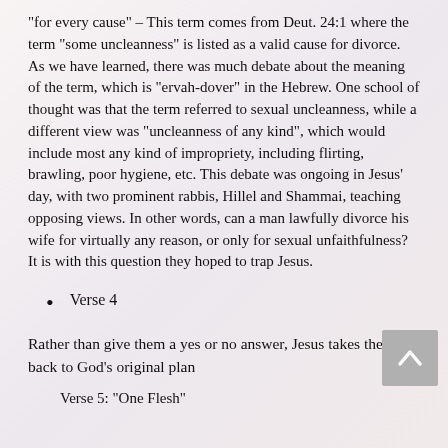“for every cause” – This term comes from Deut. 24:1 where the term “some uncleanness” is listed as a valid cause for divorce. As we have learned, there was much debate about the meaning of the term, which is “ervah-dover” in the Hebrew. One school of thought was that the term referred to sexual uncleanness, while a different view was “uncleanness of any kind”, which would include most any kind of impropriety, including flirting, brawling, poor hygiene, etc. This debate was ongoing in Jesus’ day, with two prominent rabbis, Hillel and Shammai, teaching opposing views. In other words, can a man lawfully divorce his wife for virtually any reason, or only for sexual unfaithfulness? It is with this question they hoped to trap Jesus.
Verse 4
Rather than give them a yes or no answer, Jesus takes them back to God’s original plan
Verse 5: “One Flesh”